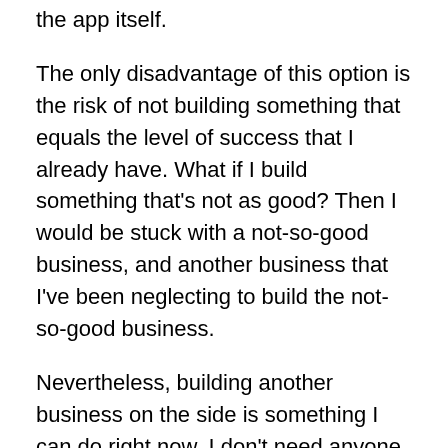the app itself.
The only disadvantage of this option is the risk of not building something that equals the level of success that I already have. What if I build something that's not as good? Then I would be stuck with a not-so-good business, and another business that I've been neglecting to build the not-so-good business.
Nevertheless, building another business on the side is something I can do right now. I don't need anyone else's permission. I can just get started. Sometimes that's the best thing to do. Just get started.
I would feel more comfortable hiring people to work on a business that owns it's own platform.